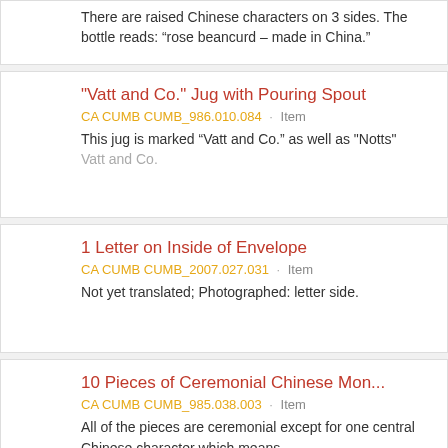There are raised Chinese characters on 3 sides. The bottle reads: “rose beancurd – made in China.”
"Vatt and Co." Jug with Pouring Spout
CA CUMB CUMB_986.010.084 · Item
This jug is marked “Vatt and Co.” as well as "Notts"
Vatt and Co.
1 Letter on Inside of Envelope
CA CUMB CUMB_2007.027.031 · Item
Not yet translated; Photographed: letter side.
10 Pieces of Ceremonial Chinese Mon...
CA CUMB CUMB_985.038.003 · Item
All of the pieces are ceremonial except for one central Chinese character which means